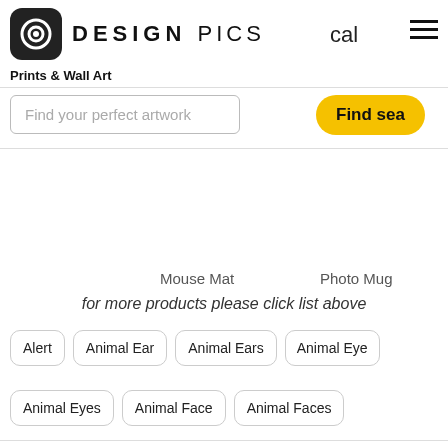[Figure (logo): Design Pics logo with circular icon and DESIGN PICS text]
cal
[Figure (illustration): Hamburger menu icon (three horizontal lines)]
Prints & Wall Art
Find your perfect artwork
Find sea
Mouse Mat
Photo Mug
for more products please click list above
Alert
Animal Ear
Animal Ears
Animal Eye
Animal Eyes
Animal Face
Animal Faces